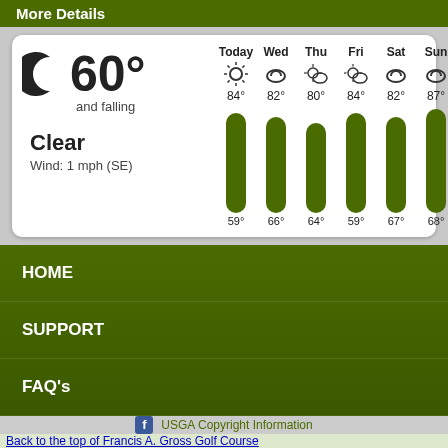More Details
[Figure (infographic): Weather widget showing current conditions (60° and falling, Clear, Wind: 1 mph SE) with a moon icon, and a 6-day forecast showing Today through Sun with high/low temperatures and weather bar graphs. Today: 84°/59°, Wed: 82°/66°, Thu: 80°/64°, Fri: 84°/59°, Sat: 82°/67°, Sun: 87°/68°]
HOME
SUPPORT
FAQ's
USGA Copyright Information
Back to the top of Francis A. Gross Golf Course